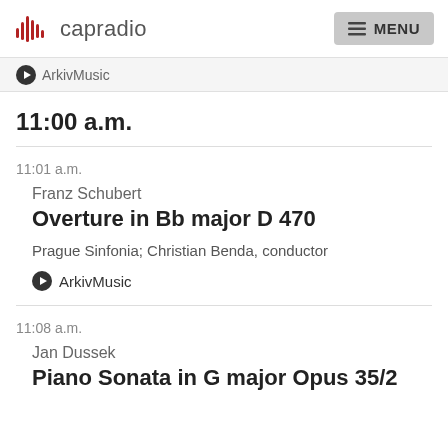capradio  MENU
ArkivMusic
11:00 a.m.
11:01 a.m.
Franz Schubert
Overture in Bb major D 470
Prague Sinfonia; Christian Benda, conductor
ArkivMusic
11:08 a.m.
Jan Dussek
Piano Sonata in G major Opus 35/2